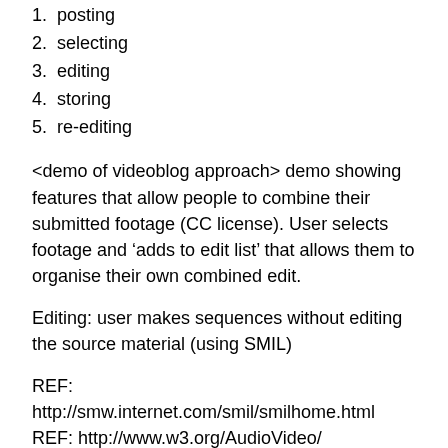1. posting
2. selecting
3. editing
4. storing
5. re-editing
<demo of videoblog approach> demo showing features that allow people to combine their submitted footage (CC license). User selects footage and ‘adds to edit list’ that allows them to organise their own combined edit.
Editing: user makes sequences without editing the source material (using SMIL)
REF: http://smw.internet.com/smil/smilhome.html REF: http://www.w3.org/AudioVideo/
<shows prototype editor interface>
SMIL dpcs describe: display area; regions for positioning;